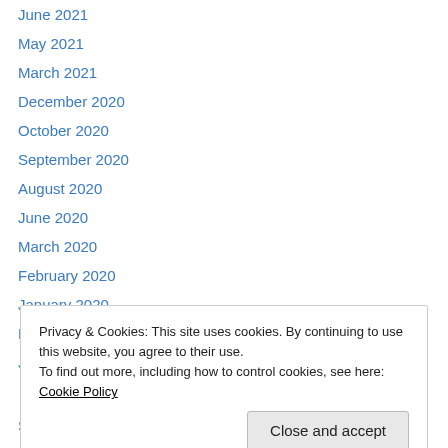June 2021
May 2021
March 2021
December 2020
October 2020
September 2020
August 2020
June 2020
March 2020
February 2020
January 2020
February 2019
January 2019
Privacy & Cookies: This site uses cookies. By continuing to use this website, you agree to their use.
To find out more, including how to control cookies, see here: Cookie Policy
September 2017